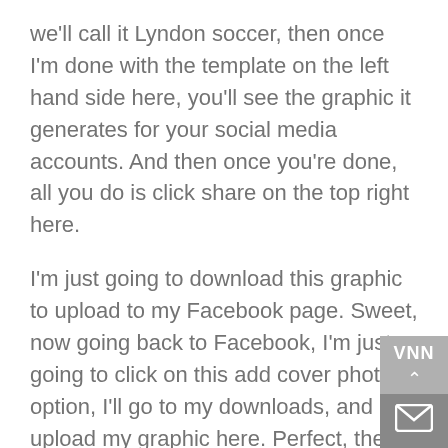we'll call it Lyndon soccer, then once I'm done with the template on the left hand side here, you'll see the graphic it generates for your social media accounts. And then once you're done, all you do is click share on the top right here.
I'm just going to download this graphic to upload to my Facebook page. Sweet, now going back to Facebook, I'm just going to click on this add cover photo option, I'll go to my downloads, and upload my graphic here. Perfect, then you just click save on the bottom left, and your Facebook page will be good to go.
Now, before I connect this Facebook page to my VNN apps, I'm going to create a Twitter account next. So going to Twitter's homepage here, I'm going to click on this sign up button here, and we'll call it Lyndon soccer.
[Figure (other): VNN widget overlay in bottom-right corner with 'VNN' text, an upward chevron icon, and an envelope icon on a gray background.]